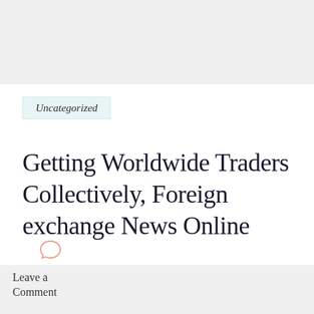[Figure (other): Gray banner/bar at the top of the page]
Uncategorized
Getting Worldwide Traders Collectively, Foreign exchange News Online
[Figure (other): Gray banner/bar at the bottom of the page with a comment bubble icon]
Leave a Comment